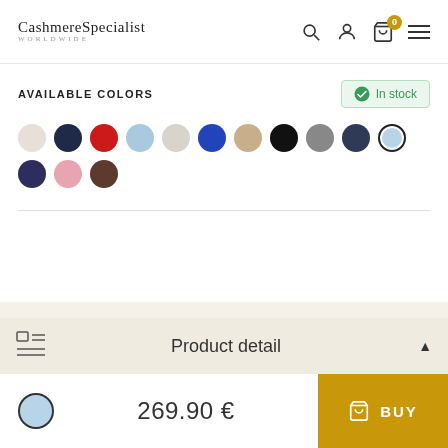CashmereSpecialist WORLDWIDE
AVAILABLE COLORS
In stock
[Figure (other): Color swatches row: off-white, navy, red, light blue, light gray, cobalt blue, tan/beige, black, gray, dark navy, light blue (selected with ring), purple/navy, pink, and brown.]
Product detail
269.90 €
BUY